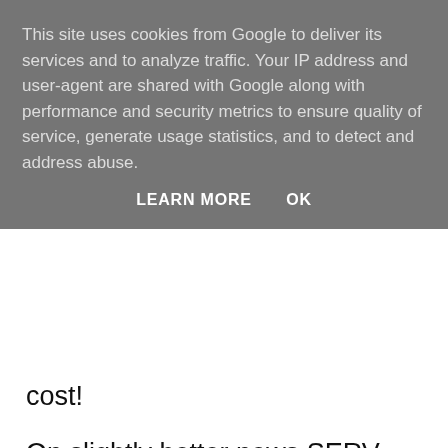This site uses cookies from Google to deliver its services and to analyze traffic. Your IP address and user-agent are shared with Google along with performance and security metrics to ensure quality of service, generate usage statistics, and to detect and address abuse.
LEARN MORE   OK
cost!
On slightly better news SERV Blood Bikes have confirmed that their insurers have no problems with my new medical status, so I can continue riding with them when I'm up to it, although at the moment volunteering in one of the groups three 4x4s seems the more attractive option.
I did get out on the bike for the first time since my heart attack yesterday, only a short 20 mile run over